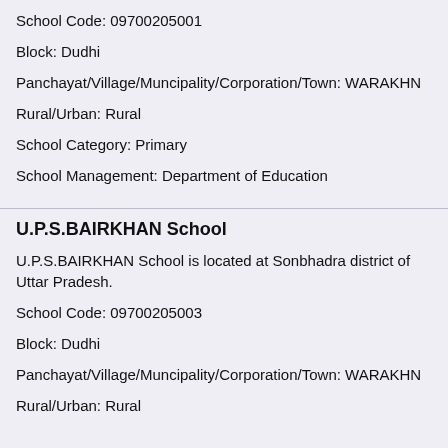School Code: 09700205001
Block: Dudhi
Panchayat/Village/Muncipality/Corporation/Town: WARAKHN
Rural/Urban: Rural
School Category: Primary
School Management: Department of Education
U.P.S.BAIRKHAN School
U.P.S.BAIRKHAN School is located at Sonbhadra district of Uttar Pradesh.
School Code: 09700205003
Block: Dudhi
Panchayat/Village/Muncipality/Corporation/Town: WARAKHN
Rural/Urban: Rural